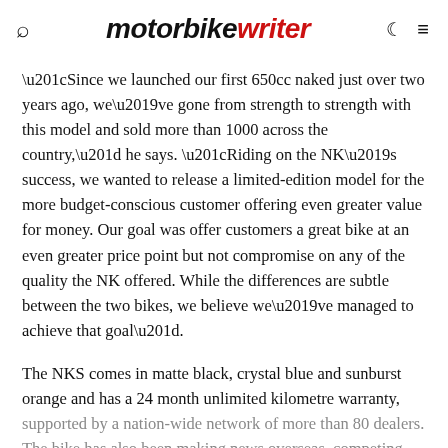motorbike writer
“Since we launched our first 650cc naked just over two years ago, we’ve gone from strength to strength with this model and sold more than 1000 across the country,” he says. “Riding on the NK’s success, we wanted to release a limited-edition model for the more budget-conscious customer offering even greater value for money. Our goal was offer customers a great bike at an even greater price point but not compromise on any of the quality the NK offered. While the differences are subtle between the two bikes, we believe we’ve managed to achieve that goal”.
The NKS comes in matte black, crystal blue and sunburst orange and has a 24 month unlimited kilometre warranty, supported by a nation-wide network of more than 80 dealers. The bike has also been making news overseas, competing the Isle of Man TT for the next two years and outfit is 7th...